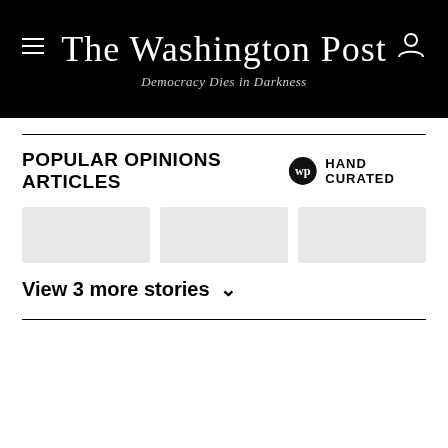The Washington Post — Democracy Dies in Darkness
POPULAR OPINIONS ARTICLES
[Figure (logo): Washington Post WP circular badge logo with HAND CURATED text]
[Figure (other): Three grey placeholder image cards in a row]
View 3 more stories